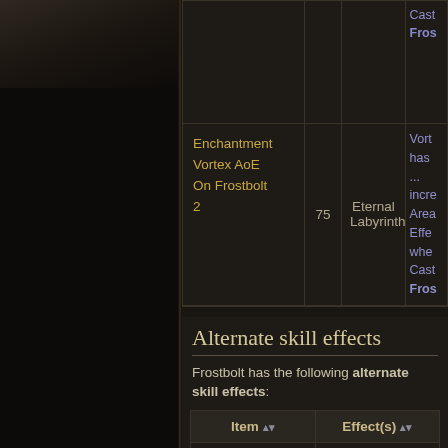[Figure (screenshot): Dark game UI screenshot fragment. Left panel shows dark/black game artwork. Right panel shows a game wiki table with enchantment data and alternate skill effects section.]
| Name | Level | Area | Effect(s) |
| --- | --- | --- | --- |
| (clipped top row — Cast... Fros...) |  |  |  |
| Enchantment Vortex AoE On Frostbolt 2 | 75 | Eternal Labyrinth | Vortex... has ... incre... Area... Effe... whe... Cast... Fros... |
Alternate skill effects
Frostbolt has the following alternate skill effects:
| Item | Effect(s) |
| --- | --- |
| Black Hole Frostbolt Effect | Your Frostbolt becomes a flying |